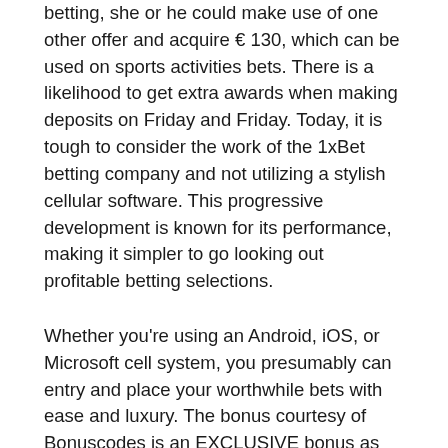betting, she or he could make use of one other offer and acquire € 130, which can be used on sports activities bets. There is a likelihood to get extra awards when making deposits on Friday and Friday. Today, it is tough to consider the work of the 1xBet betting company and not utilizing a stylish cellular software. This progressive development is known for its performance, making it simpler to go looking out profitable betting selections.
Whether you're using an Android, iOS, or Microsoft cell system, you presumably can entry and place your worthwhile bets with ease and luxury. The bonus courtesy of Bonuscodes is an EXCLUSIVE bonus as much as €/$one hundred thirty and all you have to do is to make use of our particular promo code BCVIP. Using a unique promotional code, you presumably can stand up to $a hundred thirty as a bonus. Ample alternate options can be found because of the reside match right now – 1xBet. Smartphone punters rejoice – 1xBet presents its fans a dedicated and live-form coverage of content – iOS and